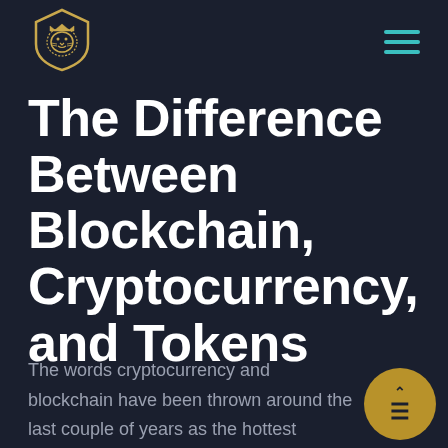[Figure (logo): Lion head in shield logo, gold/brown outline on dark background]
The Difference Between Blockchain, Cryptocurrency, and Tokens
The words cryptocurrency and blockchain have been thrown around the last couple of years as the hottest buzzwords in technology. However, they